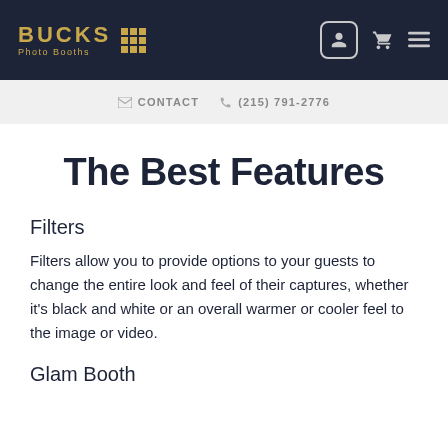BUCKS Photo Booths — navigation header with logo, user icon, cart icon, menu icon
✉ CONTACT  ☎ (215) 791-2776
The Best Features
Filters
Filters allow you to provide options to your guests to change the entire look and feel of their captures, whether it's black and white or an overall warmer or cooler feel to the image or video.
Glam Booth